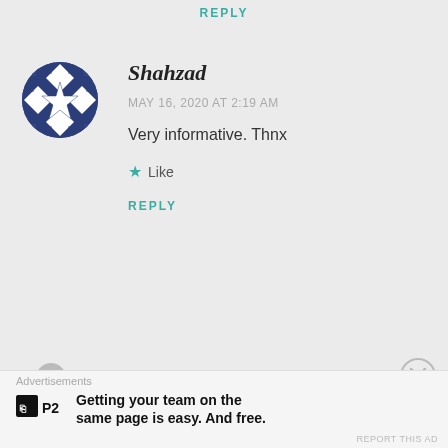REPLY
[Figure (illustration): Circular avatar with blue and white geometric diamond/star quilt pattern]
Shahzad
MAY 16, 2020 AT 2:19 AM
Very informative. Thnx
★ Like
REPLY
[Figure (photo): Partial view of next commenter avatar (top of head)]
Advertisements
[Figure (logo): P2 logo - black square with white H-like symbol and text P2]
Getting your team on the same page is easy. And free.